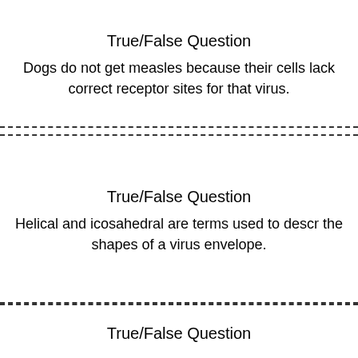True/False Question
Dogs do not get measles because their cells lack correct receptor sites for that virus.
True/False Question
Helical and icosahedral are terms used to describe the shapes of a virus envelope.
True/False Question